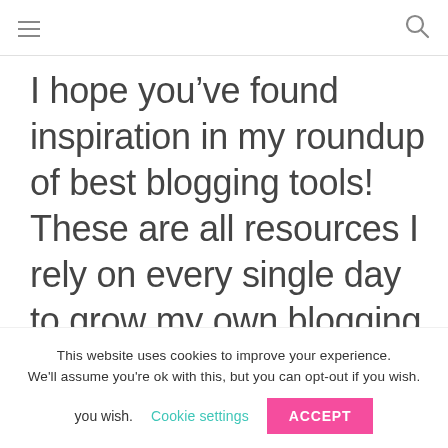[hamburger menu] [search icon]
I hope you’ve found inspiration in my roundup of best blogging tools! These are all resources I rely on every single day to grow my own blogging
This website uses cookies to improve your experience. We'll assume you're ok with this, but you can opt-out if you wish. Cookie settings ACCEPT